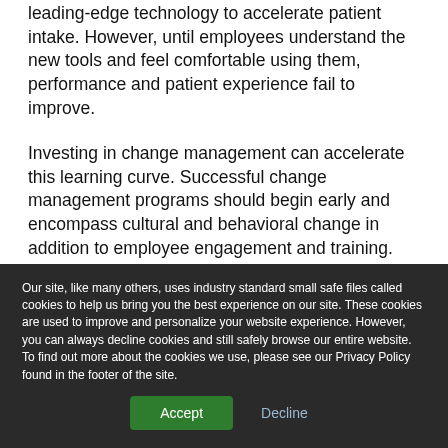leading-edge technology to accelerate patient intake. However, until employees understand the new tools and feel comfortable using them, performance and patient experience fail to improve.
Investing in change management can accelerate this learning curve. Successful change management programs should begin early and encompass cultural and behavioral change in addition to employee engagement and training.
Our site, like many others, uses industry standard small safe files called cookies to help us bring you the best experience on our site. These cookies are used to improve and personalize your website experience. However, you can always decline cookies and still safely browse our entire website. To find out more about the cookies we use, please see our Privacy Policy found in the footer of the site.